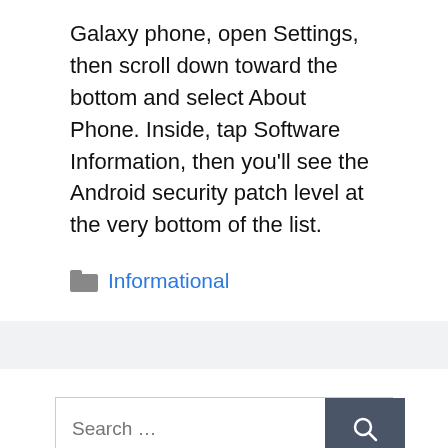Galaxy phone, open Settings, then scroll down toward the bottom and select About Phone. Inside, tap Software Information, then you'll see the Android security patch level at the very bottom of the list.
Informational
Search …
From the author